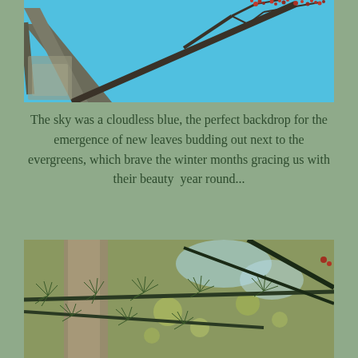[Figure (photo): Close-up photo looking up at a tree branch with small red buds/flowers against a bright blue cloudless sky]
The sky was a cloudless blue, the perfect backdrop for the emergence of new leaves budding out next to the evergreens, which brave the winter months gracing us with their beauty  year round...
[Figure (photo): Close-up photo of evergreen branches with fine needle-like foliage against a blurred forest background with tree trunks and bokeh light]